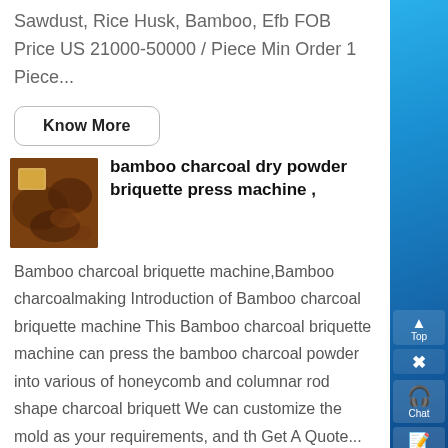Sawdust, Rice Husk, Bamboo, Efb FOB Price US 21000-50000 / Piece Min Order 1 Piece...
Know More
bamboo charcoal dry powder briquette press machine ,
[Figure (photo): Product image showing bamboo charcoal briquette press machine with colorful materials on a tray]
Bamboo charcoal briquette machine,Bamboo charcoalmaking Introduction of Bamboo charcoal briquette machine This Bamboo charcoal briquette machine can press the bamboo charcoal powder into various of honeycomb and columnar rod shape charcoal briquett We can customize the mold as your requirements, and th Get A Quote...